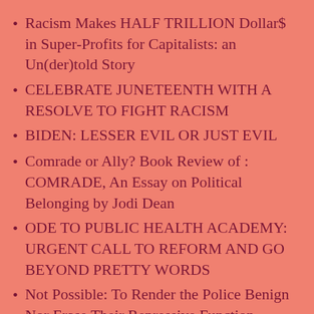Racism Makes HALF TRILLION Dollar$ in Super-Profits for Capitalists: an Un(der)told Story
CELEBRATE JUNETEENTH WITH A RESOLVE TO FIGHT RACISM
BIDEN: LESSER EVIL OR JUST EVIL
Comrade or Ally? Book Review of : COMRADE, An Essay on Political Belonging by Jodi Dean
ODE TO PUBLIC HEALTH ACADEMY: URGENT CALL TO REFORM AND GO BEYOND PRETTY WORDS
Not Possible: To Render the Police Benign Nor Erase Their Repressive Function
Where Were the Hypocrites When Police Murdered 1000 People, Disproportionately